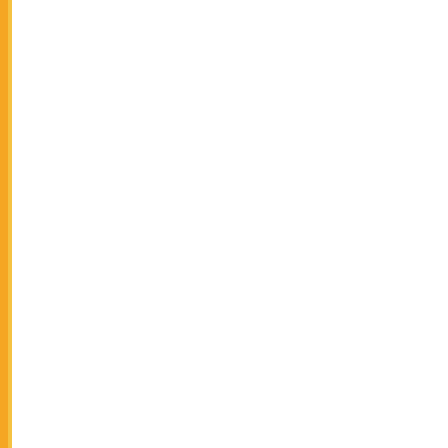| No. | Date | Description |
| --- | --- | --- |
| 443. | 26/02/2018 | Submitting o... Centre/s dur... |
| 444. | 26/02/2018 | Submitting o... (Small pack)... |
| 445. | 26/02/2018 | Set up of hel... |
| 446. | 04/01/2018 | Capion canc... Semester (S... USOL candi... |
| 447. | 02/01/2018 | ADDITIONS... Technology) ... (Regular/Rea... |
| 448. | 20/12/2017 | Examination... Advance Dip... |
| 449. | 19/12/2017 | Instruction fo... |
| 450. | 14/12/2017 | ADDITION/C... and 3rd Sem... |
| 451. | 14/12/2017 | ADDITION/C... (Decemeber... |
| 452. | 13/12/2017 | CHANGE in ... Economics-1... 2017) |
| 453. | 08/12/2017 | Change of c... |